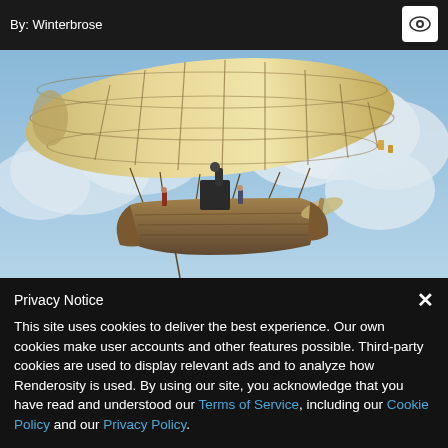By: Winterbrose
[Figure (illustration): A steampunk airship with a large beige/cream colored gas envelope and a wooden boat-style hull suspended below, flying against a partly cloudy blue sky background.]
Privacy Notice
This site uses cookies to deliver the best experience. Our own cookies make user accounts and other features possible. Third-party cookies are used to display relevant ads and to analyze how Renderosity is used. By using our site, you acknowledge that you have read and understood our Terms of Service, including our Cookie Policy and our Privacy Policy.